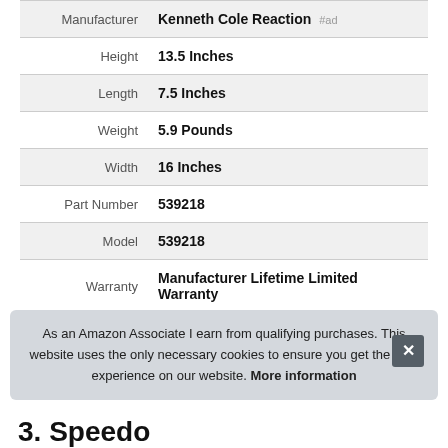| Attribute | Value |
| --- | --- |
| Manufacturer | Kenneth Cole Reaction #ad |
| Height | 13.5 Inches |
| Length | 7.5 Inches |
| Weight | 5.9 Pounds |
| Width | 16 Inches |
| Part Number | 539218 |
| Model | 539218 |
| Warranty | Manufacturer Lifetime Limited Warranty |
As an Amazon Associate I earn from qualifying purchases. This website uses the only necessary cookies to ensure you get the best experience on our website. More information
3. Speedo